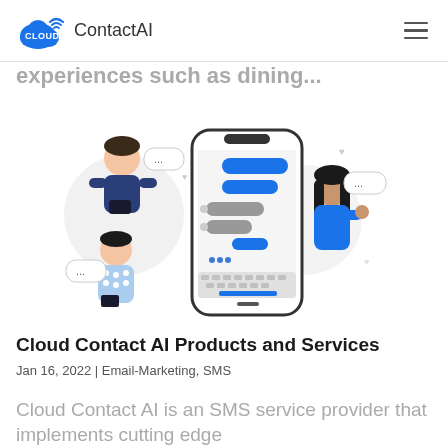CLOUD ContactAI
experiences such as dining...
[Figure (illustration): Illustration of two people holding smartphones with chat bubbles and a large smartphone in the center showing a messaging interface with blue and dark chat bubbles and a keyboard visible at the bottom.]
Cloud Contact AI Products and Services
Jan 16, 2022 | Email-Marketing, SMS
Cloud Contact AI is an SMS service provider that implements cutting edge